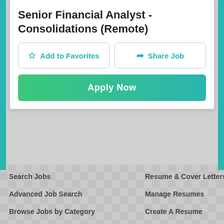Senior Financial Analyst - Consolidations (Remote)
Add to Favorites
Share Job
Apply Now
Search Jobs
Resume & Cover Letters
Advanced Job Search
Manage Resumes
Browse Jobs by Category
Create A Resume
Search by Company
Manage Cover Letters
Create a Cover Letter
Job Search Tools
Account Information
My Apply History
My Saved Jobs